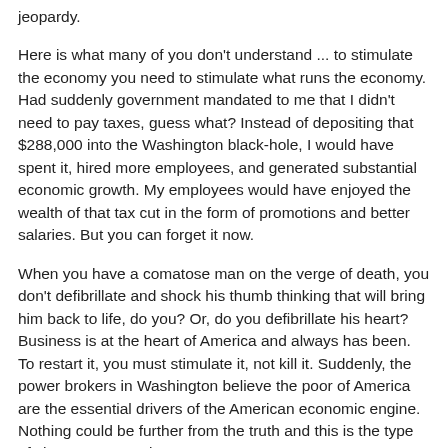jeopardy.
Here is what many of you don't understand ... to stimulate the economy you need to stimulate what runs the economy. Had suddenly government mandated to me that I didn't need to pay taxes, guess what? Instead of depositing that $288,000 into the Washington black-hole, I would have spent it, hired more employees, and generated substantial economic growth. My employees would have enjoyed the wealth of that tax cut in the form of promotions and better salaries. But you can forget it now.
When you have a comatose man on the verge of death, you don't defibrillate and shock his thumb thinking that will bring him back to life, do you? Or, do you defibrillate his heart? Business is at the heart of America and always has been. To restart it, you must stimulate it, not kill it. Suddenly, the power brokers in Washington believe the poor of America are the essential drivers of the American economic engine. Nothing could be further from the truth and this is the type of change you can keep.